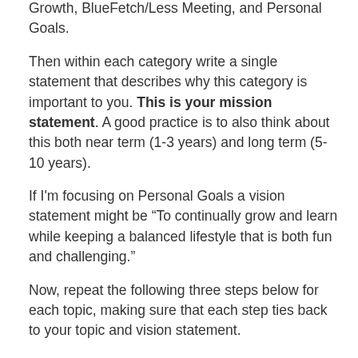Growth, BlueFetch/Less Meeting, and Personal Goals.
Then within each category write a single statement that describes why this category is important to you. This is your mission statement. A good practice is to also think about this both near term (1-3 years) and long term (5-10 years).
If I'm focusing on Personal Goals a vision statement might be “To continually grow and learn while keeping a balanced lifestyle that is both fun and challenging.”
Now, repeat the following three steps below for each topic, making sure that each step ties back to your topic and vision statement.
Step 1: Aspire
Time to let the creativity flow. Create aspirations that